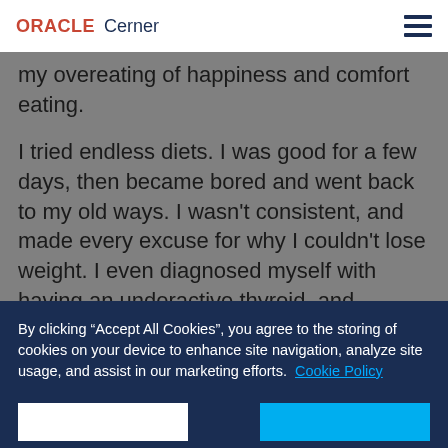ORACLE Cerner
...I fell into depression and my overeating of happiness and comfort eating.
I tried endless diets. I was good for a few days, then became bored and went back to my old ways. I wasn't consistent, and made every excuse for why I couldn't lose weight. I even diagnosed myself with having an underactive thyroid, and convinced myself I was big-boned so it was OK for me to be big. These were just excuses. I
By clicking “Accept All Cookies”, you agree to the storing of cookies on your device to enhance site navigation, analyze site usage, and assist in our marketing efforts. Cookie Policy